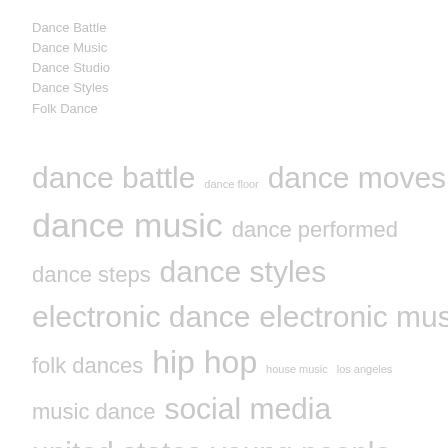Dance Battle
Dance Music
Dance Studio
Dance Styles
Folk Dance
[Figure (infographic): Tag cloud showing dance-related terms in varying font sizes: dance battle, dance floor, dance moves, dance music, dance performed, dance steps, dance styles, electronic dance, electronic music, folk dances, hip hop, house music, los angeles, music dance, social media, united states, young people]